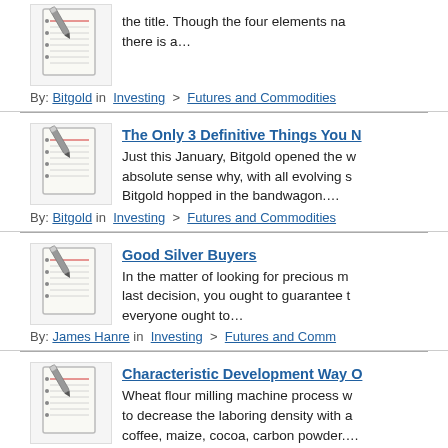the title. Though the four elements na... there is a…
By: Bitgold in  Investing  >  Futures and Commodities
The Only 3 Definitive Things You N...
Just this January, Bitgold opened the ... absolute sense why, with all evolving s... Bitgold hopped in the bandwagon.…
By: Bitgold in  Investing  >  Futures and Commodities
Good Silver Buyers
In the matter of looking for precious m... last decision, you ought to guarantee t... everyone ought to…
By: James Hanre in  Investing  >  Futures and Comm...
Characteristic Development Way O...
Wheat flour milling machine process w... to decrease the laboring density with a... coffee, maize, cocoa, carbon powder.…
By: paomo in  Investing  >  Futures and Commodities